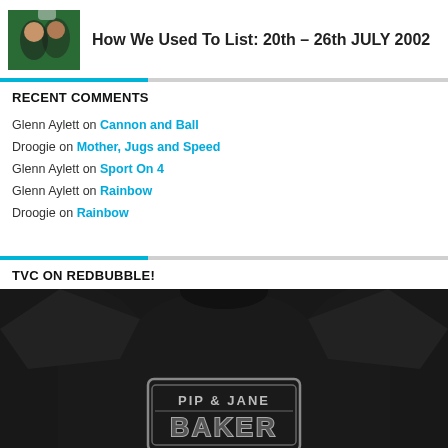[Figure (photo): Photo of people with green background top-left corner]
How We Used To List: 20th – 26th JULY 2002
RECENT COMMENTS
Glenn Aylett on Cannon and Ball
Droogie on Mother, Jugs and Speed
Glenn Aylett on Sport On 4
Glenn Aylett on Rainbow
Droogie on Rainbow
TVC ON REDBUBBLE!
[Figure (photo): Person wearing black sweatshirt with Pip & Jane Baker logo in Star Wars style text]